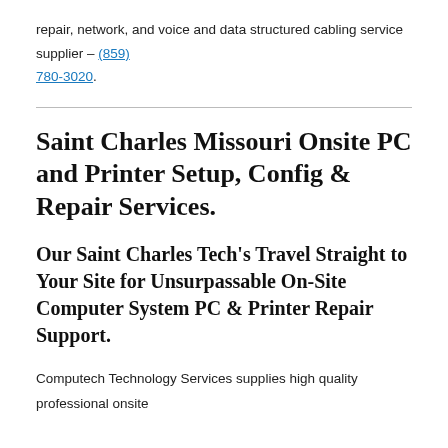repair, network, and voice and data structured cabling service supplier – (859) 780-3020.
Saint Charles Missouri Onsite PC and Printer Setup, Config & Repair Services.
Our Saint Charles Tech's Travel Straight to Your Site for Unsurpassable On-Site Computer System PC & Printer Repair Support.
Computech Technology Services supplies high quality professional onsite computer repairs services throughout the whole city of Saint Charles, Missouri. Our PC industry certified, background checked onsite PC repair specialists are highly experienced, are mobile throughout Saint Charles, and travel right to you